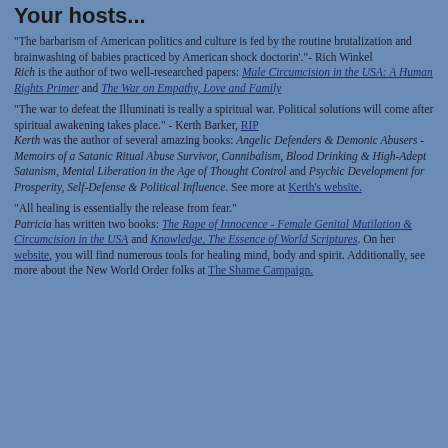Your hosts...
"The barbarism of American politics and culture is fed by the routine brutalization and brainwashing of babies practiced by American shock doctorin'."– Rich Winkel
Rich is the author of two well-researched papers: Male Circumcision in the USA: A Human Rights Primer and The War on Empathy, Love and Family
"The war to defeat the Illuminati is really a spiritual war. Political solutions will come after spiritual awakening takes place." - Kerth Barker, RIP
Kerth was the author of several amazing books: Angelic Defenders & Demonic Abusers - Memoirs of a Satanic Ritual Abuse Survivor, Cannibalism, Blood Drinking & High-Adept Satanism, Mental Liberation in the Age of Thought Control and Psychic Development for Prosperity, Self-Defense & Political Influence. See more at Kerth's website.
"All healing is essentially the release from fear."
Patricia has written two books: The Rape of Innocence - Female Genital Mutilation & Circumcision in the USA and Knowledge, The Essence of World Scriptures. On her website, you will find numerous tools for healing mind, body and spirit. Additionally, see more about the New World Order folks at The Shame Campaign.